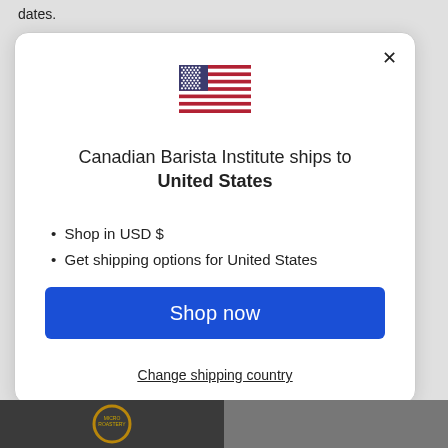dates.
[Figure (screenshot): Modal dialog showing a US flag, text 'Canadian Barista Institute ships to United States', bullet points 'Shop in USD $' and 'Get shipping options for United States', a blue 'Shop now' button, and a 'Change shipping country' link. An X close button is in the top right.]
[Figure (photo): Bottom strip showing two dark images side by side — left appears to be a circular Micro-Roastery logo, right appears to be a person in a cafe setting.]